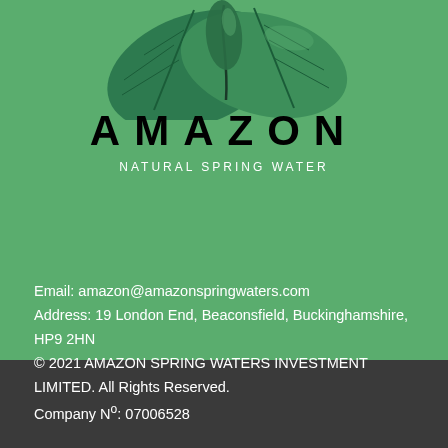[Figure (logo): Amazon Natural Spring Water logo with tropical leaves above the brand name AMAZON in large spaced bold black letters, and subtitle NATURAL SPRING WATER in white spaced capitals below]
Email: amazon@amazonspringwaters.com
Address: 19 London End, Beaconsfield, Buckinghamshire, HP9 2HN
© 2021 AMAZON SPRING WATERS INVESTMENT LIMITED. All Rights Reserved.
Company Nº: 07006528